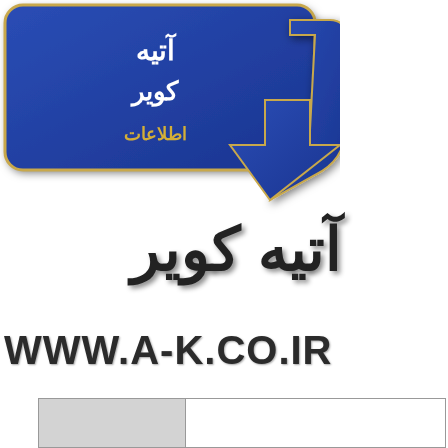[Figure (logo): Blue arrow/logo shape with Arabic text at top, company logo for Atiye Koiv (آتیه کویر), dark blue curved arrow with golden outline and Arabic script inside]
آتیه کویر
WWW.A-K.CO.IR
[Figure (table-as-image): Partial table visible at bottom of page with two columns, left column has gray background, right column has white background]